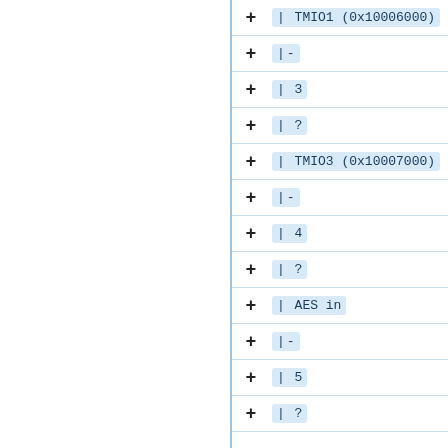| TMIO1 (0x10006000)
|-
| 3
| ?
| TMIO3 (0x10007000)
|-
| 4
| ?
| AES in
|-
| 5
| ?